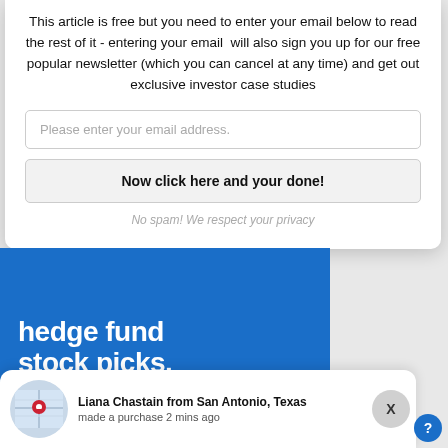This article is free but you need to enter your email below to read the rest of it - entering your email will also sign you up for our free popular newsletter (which you can cancel at any time) and get out exclusive investor case studies
Please enter your email address.
Now click here and your done!
No spam! We respect your privacy
[Figure (illustration): Blue advertisement banner with white bold text reading 'hedge fund stock picks.']
Liana Chastain from San Antonio, Texas made a purchase 2 mins ago